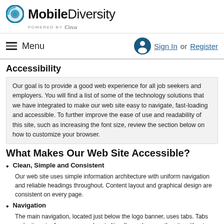[Figure (logo): MobileDiversity logo with circular icon and 'Powered by Circa' tagline]
Menu | Sign In or Register
Accessibility
Our goal is to provide a good web experience for all job seekers and employers. You will find a list of some of the technology solutions that we have integrated to make our web site easy to navigate, fast-loading and accessible. To further improve the ease of use and readability of this site, such as increasing the font size, review the section below on how to customize your browser.
What Makes Our Web Site Accessible?
Clean, Simple and Consistent
Our web site uses simple information architecture with uniform navigation and reliable headings throughout. Content layout and graphical design are consistent on every page.
Navigation
The main navigation, located just below the logo banner, uses tabs. Tabs make it easier for screen readers to literally read across the site without having to sort through unnecessary code. Tabs also allow the users to use the